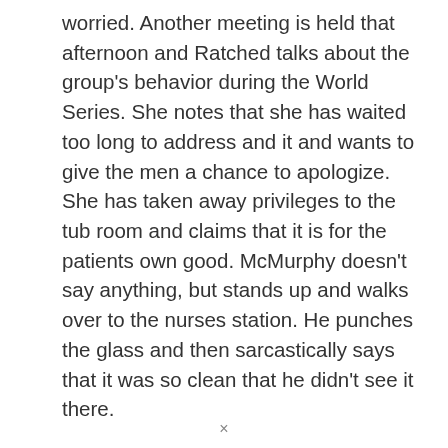worried. Another meeting is held that afternoon and Ratched talks about the group's behavior during the World Series. She notes that she has waited too long to address and it and wants to give the men a chance to apologize. She has taken away privileges to the tub room and claims that it is for the patients own good. McMurphy doesn't say anything, but stands up and walks over to the nurses station. He punches the glass and then sarcastically says that it was so clean that he didn't see it there.
After this incident, McMurphy does unpunished for a while as Ratched knows that she has all the
×